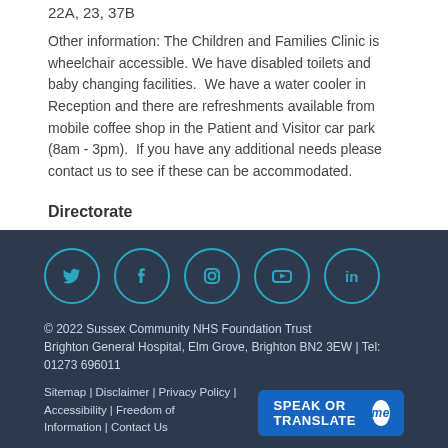22A, 23, 37B
Other information: The Children and Families Clinic is wheelchair accessible. We have disabled toilets and baby changing facilities.  We have a water cooler in Reception and there are refreshments available from mobile coffee shop in the Patient and Visitor car park (8am - 3pm).  If you have any additional needs please contact us to see if these can be accommodated.
Directorate
[Figure (other): Social media icons: Twitter, Facebook, Instagram, YouTube, LinkedIn — teal circle outlines on dark navy background]
© 2022 Sussex Community NHS Foundation Trust
Brighton General Hospital, Elm Grove, Brighton BN2 3EW | Tel: 01273 696011
Sitemap | Disclaimer | Privacy Policy | Accessibility | Freedom of Information | Contact Us
[Figure (other): SPEAK OR TRANSLATE me button — blue rectangle with white bold text and white circle with 'me' in blue italic]